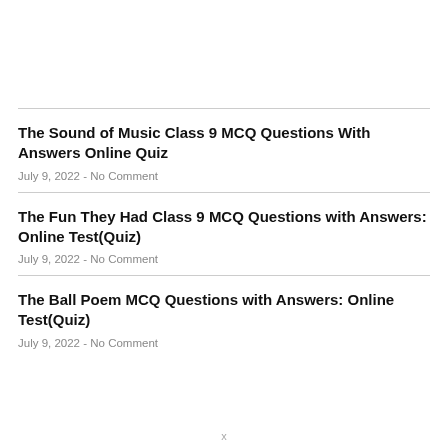The Sound of Music Class 9 MCQ Questions With Answers Online Quiz
July 9, 2022 - No Comment
The Fun They Had Class 9 MCQ Questions with Answers: Online Test(Quiz)
July 9, 2022 - No Comment
The Ball Poem MCQ Questions with Answers: Online Test(Quiz)
July 9, 2022 - No Comment
x